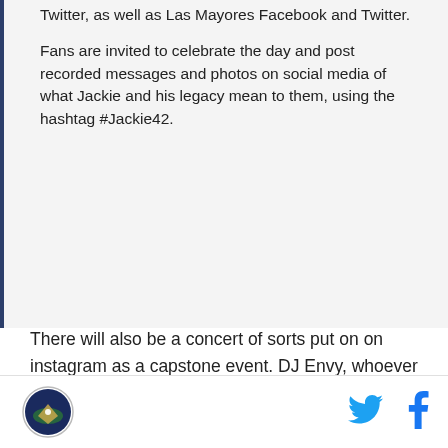Twitter, as well as Las Mayores Facebook and Twitter.
Fans are invited to celebrate the day and post recorded messages and photos on social media of what Jackie and his legacy mean to them, using the hashtag #Jackie42.
There will also be a concert of sorts put on on instagram as a capstone event. DJ Envy, whoever that is, will take to the social platform at 6pm, and will be joined by MLB Players and other celebrity guests. I doubt it, but still hope Joe Mauer shows up to spin a disc or two. That being said, I'll probably be watching Ken Burns, since the two events are going on at the
[Figure (logo): Circular logo with baseball field illustration]
[Figure (other): Twitter bird icon in cyan blue]
[Figure (other): Facebook f icon in dark blue]